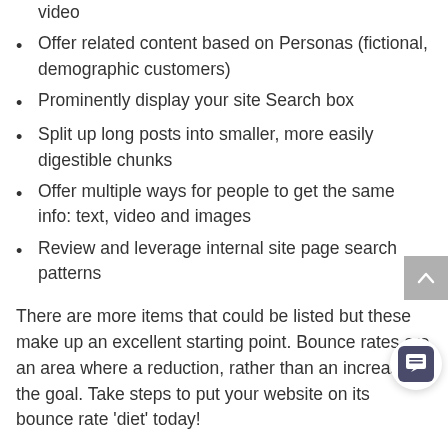video
Offer related content based on Personas (fictional, demographic customers)
Prominently display your site Search box
Split up long posts into smaller, more easily digestible chunks
Offer multiple ways for people to get the same info: text, video and images
Review and leverage internal site page search patterns
There are more items that could be listed but these make up an excellent starting point. Bounce rates are an area where a reduction, rather than an increase, is the goal. Take steps to put your website on its bounce rate ‘diet’ today!
Let us know how we can help with you develop